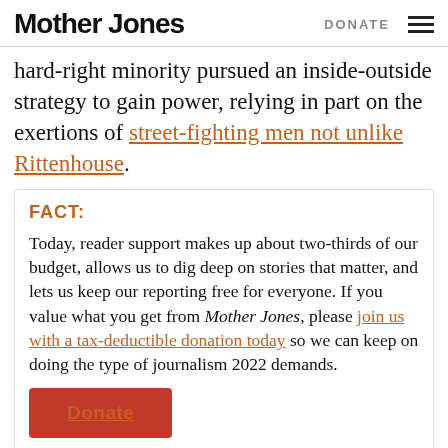Mother Jones | DONATE
hard-right minority pursued an inside-outside strategy to gain power, relying in part on the exertions of street-fighting men not unlike Rittenhouse.
FACT:
Today, reader support makes up about two-thirds of our budget, allows us to dig deep on stories that matter, and lets us keep our reporting free for everyone. If you value what you get from Mother Jones, please join us with a tax-deductible donation today so we can keep on doing the type of journalism 2022 demands.
Donate